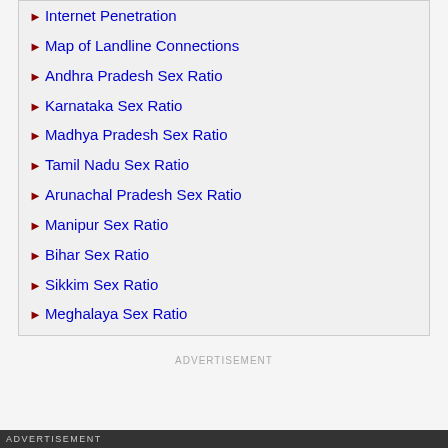Internet Penetration
Map of Landline Connections
Andhra Pradesh Sex Ratio
Karnataka Sex Ratio
Madhya Pradesh Sex Ratio
Tamil Nadu Sex Ratio
Arunachal Pradesh Sex Ratio
Manipur Sex Ratio
Bihar Sex Ratio
Sikkim Sex Ratio
Meghalaya Sex Ratio
ADVERTISEMENT
ADVERTISEMENT